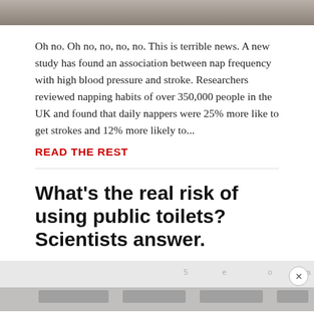[Figure (photo): Top portion of an image, partially cropped, showing a muted gray-brown background]
Oh no. Oh no, no, no, no. This is terrible news. A new study has found an association between nap frequency with high blood pressure and stroke. Researchers reviewed napping habits of over 350,000 people in the UK and found that daily nappers were 25% more like to get strokes and 12% more likely to...
READ THE REST
What's the real risk of using public toilets? Scientists answer.
[Figure (photo): Cropped image of public toilet fixtures against a light background, with a circular X close button in the upper right]
Report an ad
[Figure (infographic): Disney Bundle advertisement banner: hulu, Disney+, ESPN+ logos with blue 'GET THE DISNEY BUNDLE' call to action and fine print about service terms]